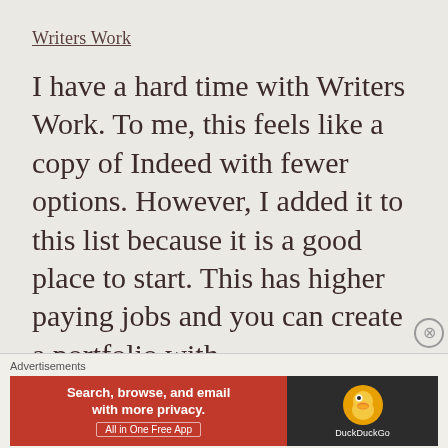Writers Work
I have a hard time with Writers Work. To me, this feels like a copy of Indeed with fewer options. However, I added it to this list because it is a good place to start. This has higher paying jobs and you can create a portfolio with
Advertisements
[Figure (screenshot): DuckDuckGo advertisement banner: orange left panel with text 'Search, browse, and email with more privacy. All in One Free App' and dark right panel with DuckDuckGo duck logo and brand name.]